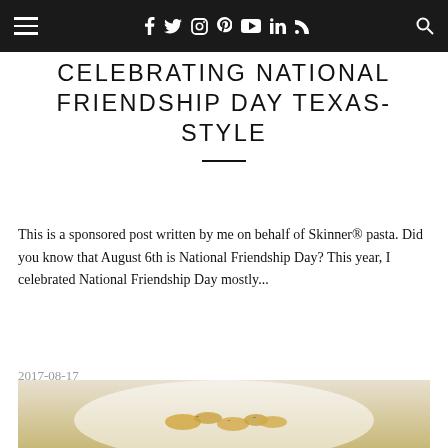Navigation bar with hamburger menu, social icons (f, t, instagram, pinterest, youtube, in, rss), and search icon
CELEBRATING NATIONAL FRIENDSHIP DAY TEXAS-STYLE
This is a sponsored post written by me on behalf of Skinner® pasta. Did you know that August 6th is National Friendship Day? This year, I celebrated National Friendship Day mostly...
2017-08-17
[Figure (photo): A photo of pasta dish in a white bowl, appears to be a macaroni or small pasta with herbs and toppings, partially visible at the bottom of the page]